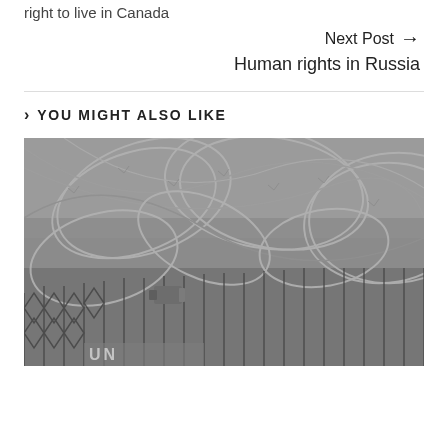right to live in Canada
Next Post → Human rights in Russia
> YOU MIGHT ALSO LIKE
[Figure (photo): Black and white photograph of razor wire / concertina wire coiled on top of a chain-link security fence, with a security camera visible in the lower portion and what appears to be a UN vehicle or sign at the bottom.]